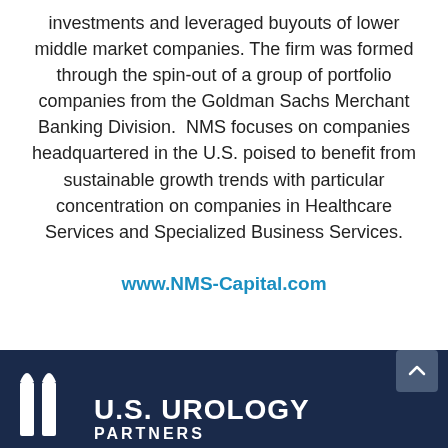investments and leveraged buyouts of lower middle market companies. The firm was formed through the spin-out of a group of portfolio companies from the Goldman Sachs Merchant Banking Division.  NMS focuses on companies headquartered in the U.S. poised to benefit from sustainable growth trends with particular concentration on companies in Healthcare Services and Specialized Business Services.
www.NMS-Capital.com
[Figure (logo): U.S. Urology Partners logo on dark navy background with stylized icon and text showing U.S. UROLOGY and PARTNERS]